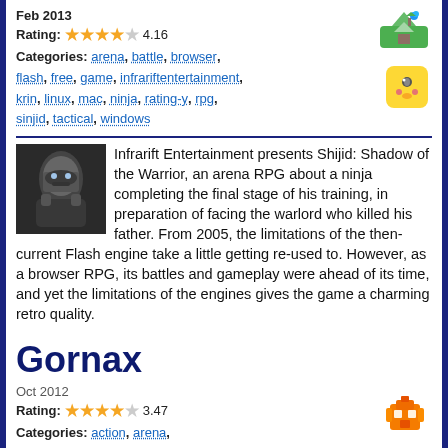Feb 2013
Rating: 4.16
Categories: arena, battle, browser, flash, free, game, infrariftentertainment, krin, linux, mac, ninja, rating-y, rpg, sinjid, tactical, windows
Infrarift Entertainment presents Shijid: Shadow of the Warrior, an arena RPG about a ninja completing the final stage of his training, in preparation of facing the warlord who killed his father. From 2005, the limitations of the then-current Flash engine take a little getting re-used to. However, as a browser RPG, its battles and gameplay were ahead of its time, and yet the limitations of the engines gives the game a charming retro quality.
Gornax
Oct 2012
Rating: 3.47
Categories: action, arena, berzerkstudio, browser, flash, free, game, gamejam, linux, mac, rating-o